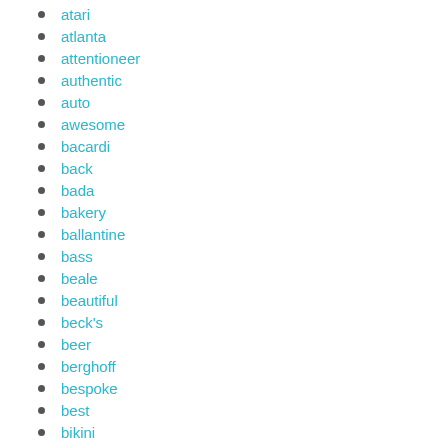atari
atlanta
attentioneer
authentic
auto
awesome
bacardi
back
bada
bakery
ballantine
bass
beale
beautiful
beck's
beer
berghoff
bespoke
best
bikini